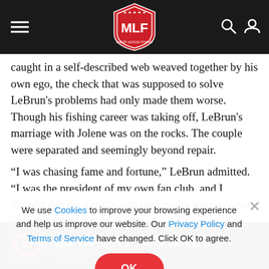MLF (Major League Fishing) website header with hamburger menu, MLF shield logo, search and user icons
caught in a self-described web weaved together by his own ego, the check that was supposed to solve LeBrun's problems had only made them worse. Though his fishing career was taking off, LeBrun's marriage with Jolene was on the rocks. The couple were separated and seemingly beyond repair.
“I was chasing fame and fortune,” LeBrun admitted. “I was the president of my own fan club, and I thought getting a major win with major money would fix it all. But it didn’t. It left me
We use Cookies to improve your browsing experience and help us improve our website. Our Privacy Policy and Terms of Service have changed. Click OK to agree.
[Figure (logo): E3 Sport Apparel advertisement banner with logo and tagline 'Custom Dye Sublimation']